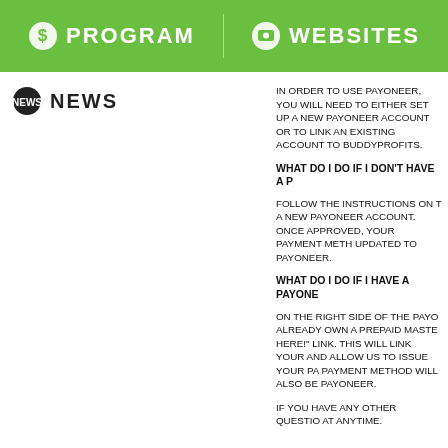PROGRAM   WEBSITES
NEWS
IN ORDER TO USE PAYONEER, YOU WILL NEED TO EITHER SET UP A NEW PAYONEER ACCOUNT OR TO LINK AN EXISTING ACCOUNT TO BUDDYPROFITS.
WHAT DO I DO IF I DON'T HAVE A PAYONEER ACCOUNT?
FOLLOW THE INSTRUCTIONS ON THE PAGE TO SET UP A NEW PAYONEER ACCOUNT. ONCE YOUR ACCOUNT HAS BEEN APPROVED, YOUR PAYMENT METHOD WILL AUTOMATICALLY BE UPDATED TO PAYONEER.
WHAT DO I DO IF I HAVE A PAYONEER ACCOUNT ALREADY?
ON THE RIGHT SIDE OF THE PAYONEER PAGE, IF YOU ALREADY OWN A PREPAID MASTERCARD, CLICK ON THE "CLICK HERE!" LINK. THIS WILL LINK YOUR EXISTING ACCOUNT AND ALLOW US TO ISSUE YOUR PAYMENTS. YOUR PAYMENT METHOD WILL ALSO BE AUTOMATICALLY UPDATED TO PAYONEER.
IF YOU HAVE ANY OTHER QUESTIONS, FEEL FREE TO CONTACT US AT ANYTIME.